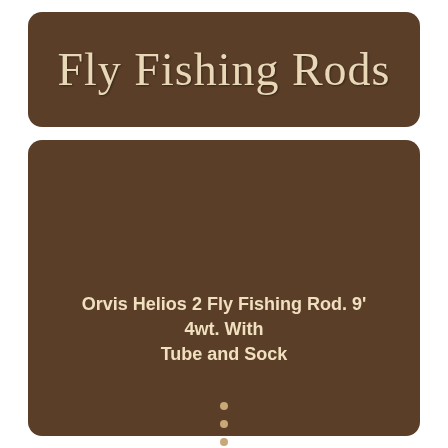Fly Fishing Rods
Orvis Helios 2 Fly Fishing Rod. 9' 4wt. With Tube and Sock
•
•
•
•
[Figure (photo): Photo of Orvis Helios 2 fly fishing rod sections laid out horizontally, showing cork grip handle, blue rod blanks, and guides. eBay watermark visible at bottom.]